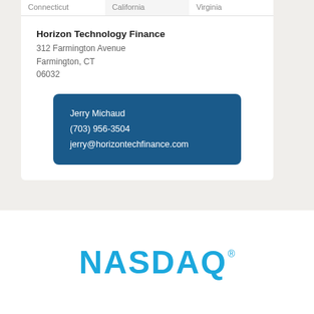| Connecticut | California | Virginia |
| --- | --- | --- |
Horizon Technology Finance
312 Farmington Avenue
Farmington, CT
06032
Jerry Michaud
(703) 956-3504
jerry@horizontechfinance.com
[Figure (logo): NASDAQ logo in blue with registered trademark symbol]